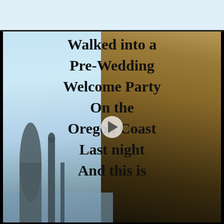[Figure (photo): A social media post screenshot. Top bar is light blue/white. Below is a video thumbnail showing Oregon Coast sea stacks and rock formations with text overlay in a handwritten/comic font reading: 'Walked into a Pre-Wedding Welcome Party On the Oregon Coast Last night And this is']
Walked into a Pre-Wedding Welcome Party On the Oregon Coast Last night And this is